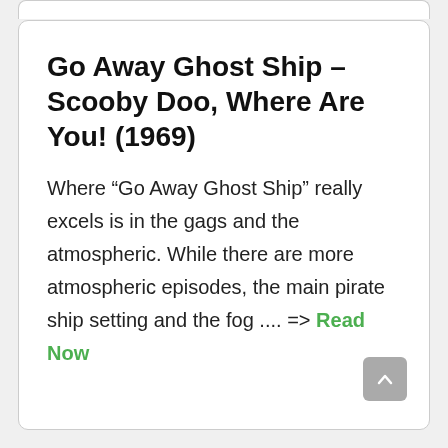Go Away Ghost Ship – Scooby Doo, Where Are You! (1969)
Where “Go Away Ghost Ship” really excels is in the gags and the atmospheric. While there are more atmospheric episodes, the main pirate ship setting and the fog .... => Read Now